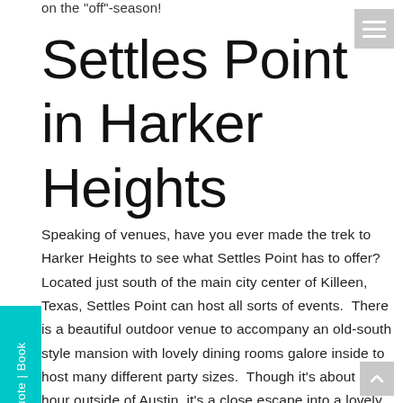on the "off"-season!
Settles Point in Harker Heights
Speaking of venues, have you ever made the trek to Harker Heights to see what Settles Point has to offer? Located just south of the main city center of Killeen, Texas, Settles Point can host all sorts of events.  There is a beautiful outdoor venue to accompany an old-south style mansion with lovely dining rooms galore inside to host many different party sizes.  Though it's about an hour outside of Austin, it's a close escape into a lovely venue that serves to make any party closer to nature and class all at once!
Quote | Book